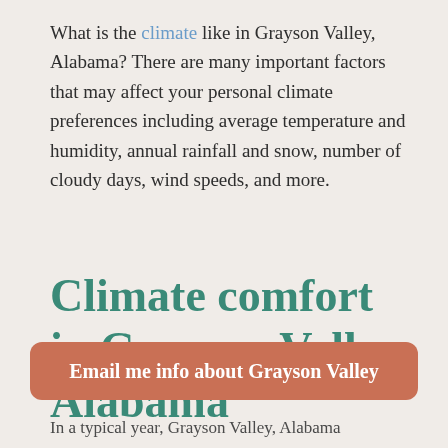What is the climate like in Grayson Valley, Alabama? There are many important factors that may affect your personal climate preferences including average temperature and humidity, annual rainfall and snow, number of cloudy days, wind speeds, and more.
Climate comfort in Grayson Valley, Alabama
Email me info about Grayson Valley
In a typical year, Grayson Valley, Alabama